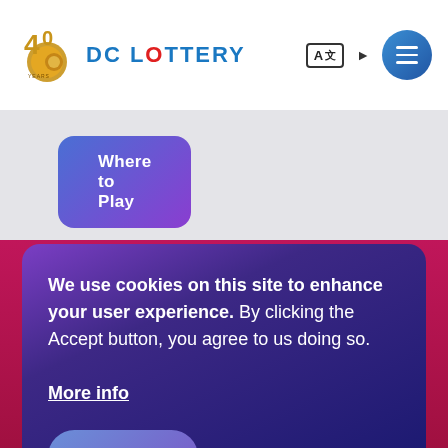DC Lottery - 40 years
Where to Play
We use cookies on this site to enhance your user experience. By clicking the Accept button, you agree to us doing so.
More info
Accept
No, thanks ✕